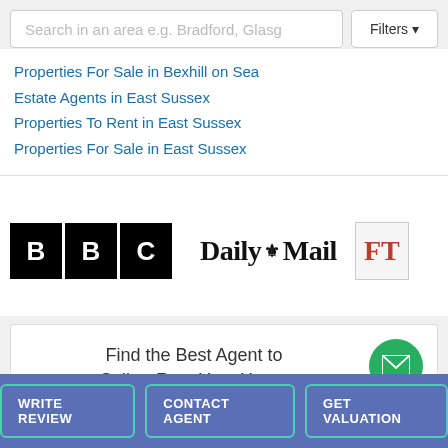Search in an area e.g. Bradford, Glasgow
Properties For Sale in Bexhill on Sea
Estate Agents in East Sussex
Properties To Rent in East Sussex
Properties For Sale in East Sussex
[Figure (logo): BBC logo — three black squares each with white letter B, B, C]
[Figure (logo): Daily Mail logo in serif blackletter font with decorative crest]
[Figure (logo): FT (Financial Times) logo partially visible, red text on grey]
Find the Best Agent to Sell or Rent Your Home
WRITE REVIEW
CONTACT AGENT
GET VALUATION